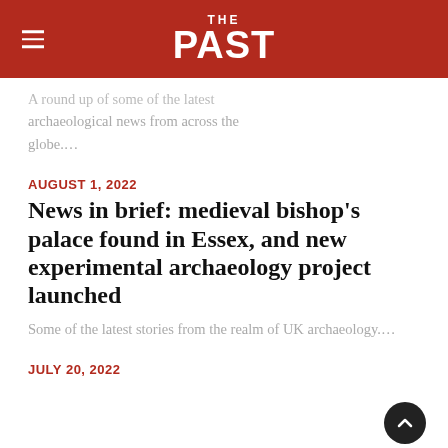THE PAST
A round-up of some of the latest archaeological news from across the globe....
AUGUST 1, 2022
News in brief: medieval bishop's palace found in Essex, and new experimental archaeology project launched
Some of the latest stories from the realm of UK archaeology....
JULY 20, 2022